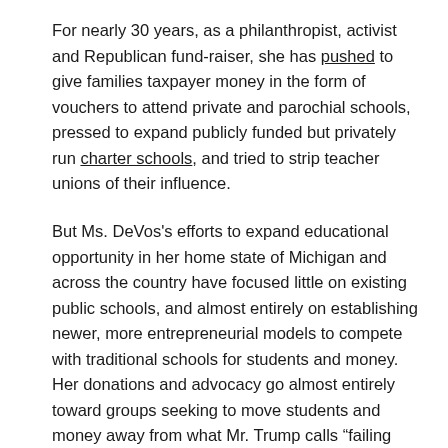For nearly 30 years, as a philanthropist, activist and Republican fund-raiser, she has pushed to give families taxpayer money in the form of vouchers to attend private and parochial schools, pressed to expand publicly funded but privately run charter schools, and tried to strip teacher unions of their influence.
But Ms. DeVos's efforts to expand educational opportunity in her home state of Michigan and across the country have focused little on existing public schools, and almost entirely on establishing newer, more entrepreneurial models to compete with traditional schools for students and money. Her donations and advocacy go almost entirely toward groups seeking to move students and money away from what Mr. Trump calls “failing government schools.”